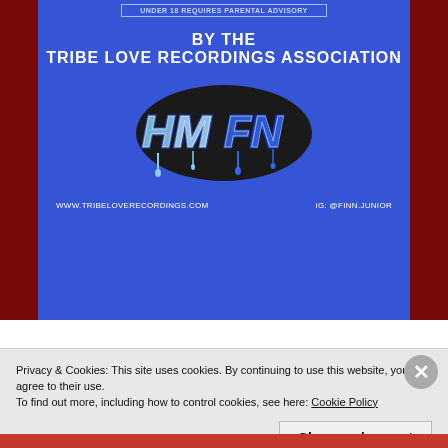UNDER 18 REQUIRES PARENTAL ADVISORY
BY THE TRIBE LOVE RECORDINGS ASSOCIATION
[Figure (logo): Graffiti-style logo text reading 'HM FNN' or similar stylized hip-hop graffiti lettering in teal/blue and white on dark background with drip effects]
WWW.TRIBELOVERECORDINGS.COM    IG: @FINN.JUNIOR
"Got a long road in front of us, tryna get this money up Keep it a hundred, but I need a lot more than just a
Privacy & Cookies: This site uses cookies. By continuing to use this website, you agree to their use.
To find out more, including how to control cookies, see here: Cookie Policy
Close and accept